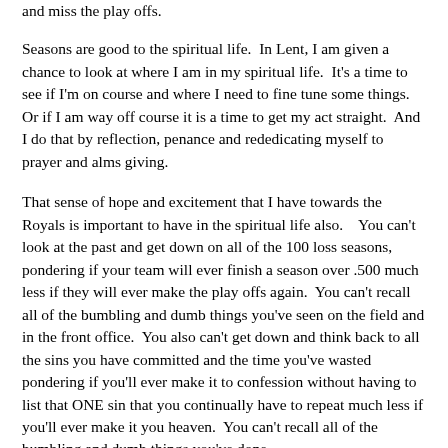and miss the play offs.
Seasons are good to the spiritual life.  In Lent, I am given a chance to look at where I am in my spiritual life.  It's a time to see if I'm on course and where I need to fine tune some things. Or if I am way off course it is a time to get my act straight.  And I do that by reflection, penance and rededicating myself to prayer and alms giving.
That sense of hope and excitement that I have towards the Royals is important to have in the spiritual life also.    You can't look at the past and get down on all of the 100 loss seasons, pondering if your team will ever finish a season over .500 much less if they will ever make the play offs again.  You can't recall all of the bumbling and dumb things you've seen on the field and in the front office.  You also can't get down and think back to all the sins you have committed and the time you've wasted pondering if you'll ever make it to confession without having to list that ONE sin that you continually have to repeat much less if you'll ever make it you heaven.  You can't recall all of the bumbling and dumb things you've done.